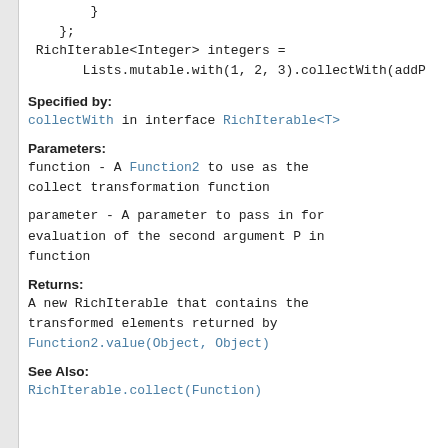}
};
RichIterable<Integer> integers =
     Lists.mutable.with(1, 2, 3).collectWith(addR
Specified by:
collectWith in interface RichIterable<T>
Parameters:
function - A Function2 to use as the collect transformation function
parameter - A parameter to pass in for evaluation of the second argument P in function
Returns:
A new RichIterable that contains the transformed elements returned by Function2.value(Object, Object)
See Also:
RichIterable.collect(Function)